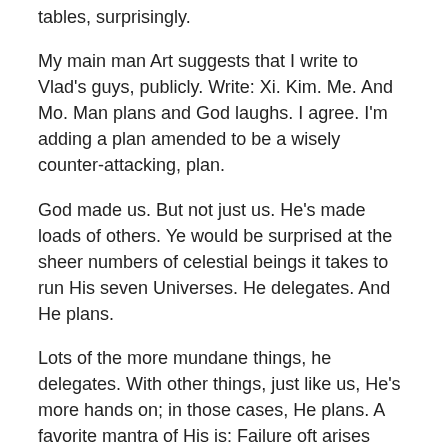tables, surprisingly.
My main man Art suggests that I write to Vlad's guys, publicly. Write: Xi. Kim. Me. And Mo. Man plans and God laughs. I agree. I'm adding a plan amended to be a wisely counter-attacking, plan.
God made us. But not just us. He's made loads of others. Ye would be surprised at the sheer numbers of celestial beings it takes to run His seven Universes. He delegates. And He plans.
Lots of the more mundane things, he delegates. With other things, just like us, He's more hands on; in those cases, He plans. A favorite mantra of His is: Failure oft arises from a failure to plan.
A favorite mantra of His is: Failure often arises from a